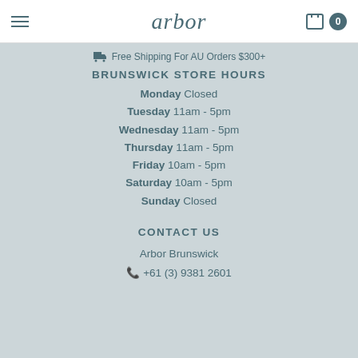arbor
Free Shipping For AU Orders $300+
BRUNSWICK STORE HOURS
Monday Closed
Tuesday 11am - 5pm
Wednesday 11am - 5pm
Thursday 11am - 5pm
Friday 10am - 5pm
Saturday 10am - 5pm
Sunday Closed
CONTACT US
Arbor Brunswick
+61 (3) 9381 2601